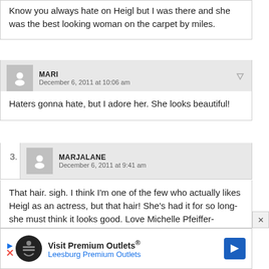Know you always hate on Heigl but I was there and she was the best looking woman on the carpet by miles.
MARI
December 6, 2011 at 10:06 am
Haters gonna hate, but I adore her. She looks beautiful!
3. MARJALANE
December 6, 2011 at 9:41 am
That hair. sigh. I think I'm one of the few who actually likes Heigl as an actress, but that hair! She's had it for so long- she must think it looks good. Love Michelle Pfeiffer- Madoona should call HER plastic surgeon. (although M.P. was hella prettier than Madonna to begin with)
Visit Premium Outlets® Leesburg Premium Outlets